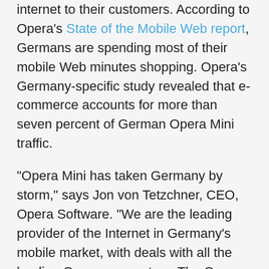internet to their customers. According to Opera's State of the Mobile Web report, Germans are spending most of their mobile Web minutes shopping. Opera's Germany-specific study revealed that e-commerce accounts for more than seven percent of German Opera Mini traffic.
“Opera Mini has taken Germany by storm,” says Jon von Tetzchner, CEO, Opera Software. “We are the leading provider of the Internet in Germany’s mobile market, with deals with all the leading German operators. The German people want to shop online, check out sports scores and read their friends’ blogs from their mobile phones, and by partnering with leading operators such as debitel, Opera is able to give the people what they want.”
Debitel has fully customized Opera Mini to match their corporate identity and to give users a familiar debitel